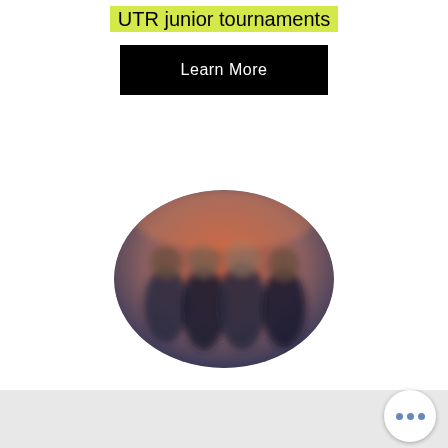UTR junior tournaments
Learn More
[Figure (photo): Oval-cropped blurred group photo of people standing together, with warm reddish background tones]
Club Competition
Learn More